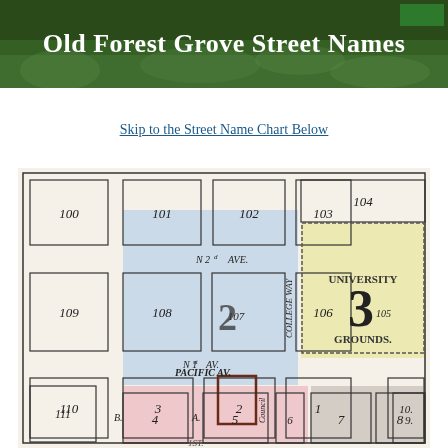Old Forest Grove Street Names
Skip to the Street Name Chart Below
[Figure (map): Historic Sanborn-style street map of Forest Grove showing numbered blocks (100–111), University Grounds (block 3), streets labeled N 2nd Ave, N 1st Ave, Pacific Av, College Way, Council street, with color-coded regions in blue, pink, and yellow]